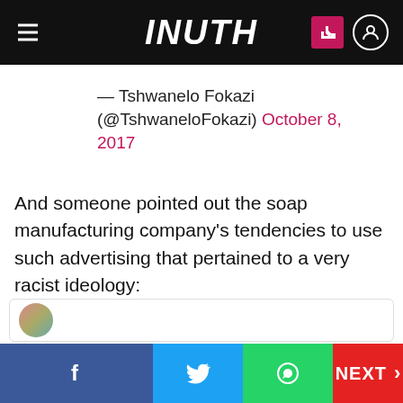INUTH
— Tshwanelo Fokazi (@TshwaneloFokazi) October 8, 2017
And someone pointed out the soap manufacturing company's tendencies to use such advertising that pertained to a very racist ideology: